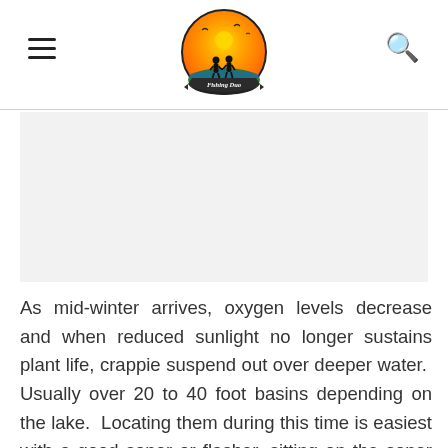Fishing Duo
[Figure (logo): Fishing Duo logo: circular badge with orange sunset background, silhouette of two people holding hands, birds flying, green water/landscape, dark banner with text 'Fishing Duo']
[Figure (photo): Advertisement placeholder area (light gray rectangle)]
As mid-winter arrives, oxygen levels decrease and when reduced sunlight no longer sustains plant life, crappie suspend out over deeper water.  Usually over 20 to 40 foot basins depending on the lake.  Locating them during this time is easiest with a good sonar or flasher, sitting on the sonar where schools are in the water